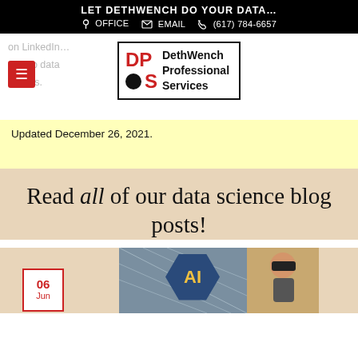LET DETHWENCH DO YOUR DATA... OFFICE EMAIL (617) 784-6657
[Figure (logo): DethWench Professional Services logo with red D, P letters, black circle, red S, and company name]
on LinkedIn... beginners new to data... in other fields.
Updated December 26, 2021.
Read all of our data science blog posts!
[Figure (photo): Blog post preview image showing AI hexagon symbol and person wearing VR headset, with date badge showing 06 Jun]